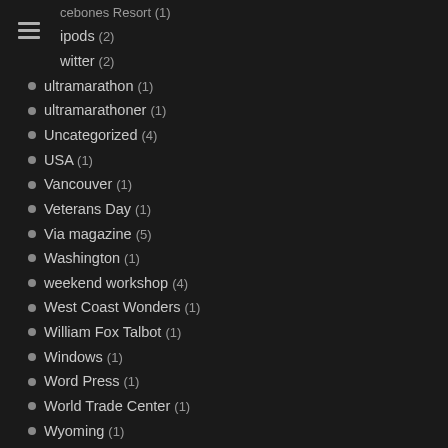cebones Resort (1)
ipods (2)
witter (2)
ultramarathon (1)
ultramarathoner (1)
Uncategorized (4)
USA (1)
Vancouver (1)
Veterans Day (1)
Via magazine (5)
Washington (1)
weekend workshop (4)
West Coast Wonders (1)
William Fox Talbot (1)
Windows (1)
Word Press (1)
World Trade Center (1)
Wyoming (1)
Yellowstone (1)
Yosemite (5)
Yosemite National Park (2)